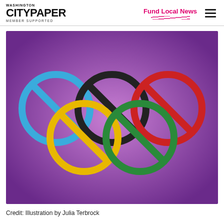Washington City Paper | Member Supported | Fund Local News
[Figure (illustration): Olympic rings (five interlocking rings in blue, yellow, black, red, green) each with a diagonal ban/no symbol slash overlaid, on a purple radial gradient background. Illustration by Julia Terbrock.]
Credit: Illustration by Julia Terbrock